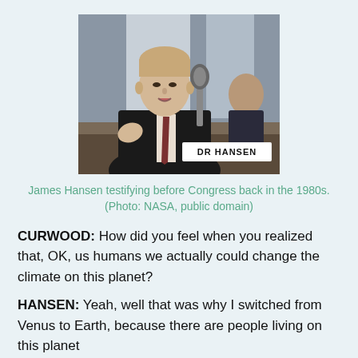[Figure (photo): Black and white photo of James Hansen testifying before Congress in the 1980s, sitting at a microphone with a nameplate reading 'DR HANSEN']
James Hansen testifying before Congress back in the 1980s. (Photo: NASA, public domain)
CURWOOD: How did you feel when you realized that, OK, us humans we actually could change the climate on this planet?
HANSEN: Yeah, well that was why I switched from Venus to Earth, because there are people living on this planet